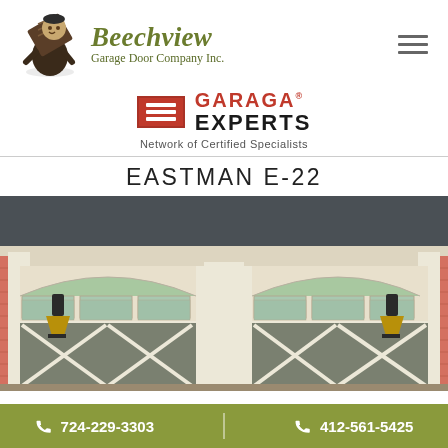[Figure (logo): Beechview Garage Door Company Inc. logo with mascot character holding a door panel and olive green company name text]
[Figure (logo): Garaga Experts - Network of Certified Specialists logo with red panel icon, red GARAGA text and dark EXPERTS text]
EASTMAN E-22
[Figure (photo): Photo of two carriage-style garage doors in cream/white color with upper arch windows and X-brace details on a salmon/pink colored house]
724-229-3303   412-561-5425